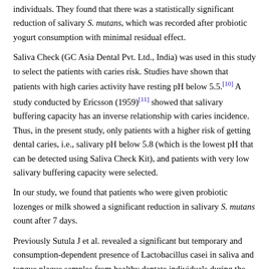individuals. They found that there was a statistically significant reduction of salivary S. mutans, which was recorded after probiotic yogurt consumption with minimal residual effect.
Saliva Check (GC Asia Dental Pvt. Ltd., India) was used in this study to select the patients with caries risk. Studies have shown that patients with high caries activity have resting pH below 5.5.[10] A study conducted by Ericsson (1959)[11] showed that salivary buffering capacity has an inverse relationship with caries incidence. Thus, in the present study, only patients with a higher risk of getting dental caries, i.e., salivary pH below 5.8 (which is the lowest pH that can be detected using Saliva Check Kit), and patients with very low salivary buffering capacity were selected.
In our study, we found that patients who were given probiotic lozenges or milk showed a significant reduction in salivary S. mutans count after 7 days.
Previously Sutula J et al. revealed a significant but temporary and consumption-dependent presence of Lactobacillus casei in saliva and tongue plaque samples from healthy dentate individuals during the probiotic intervention phase.[12] The probiotic strain L. casei belong to the species Lactobacillus paracasei according